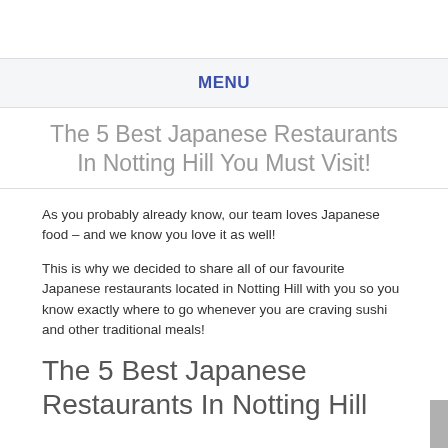MENU
The 5 Best Japanese Restaurants In Notting Hill You Must Visit!
As you probably already know, our team loves Japanese food – and we know you love it as well!
This is why we decided to share all of our favourite Japanese restaurants located in Notting Hill with you so you know exactly where to go whenever you are craving sushi and other traditional meals!
The 5 Best Japanese Restaurants In Notting Hill